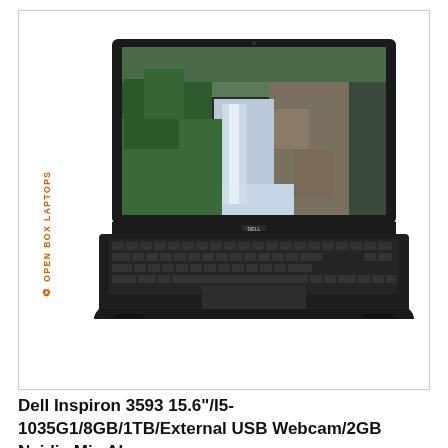[Figure (photo): Dell Inspiron laptop (black) with a scenic waterfall and forest wallpaper displayed on screen, shown from a front-facing angle. The label 'OPEN BOX LAPTOPS' appears vertically on the left side in orange text.]
Dell Inspiron 3593 15.6"/I5-1035G1/8GB/1TB/External USB Webcam/2GB Nvidia Mix AI...